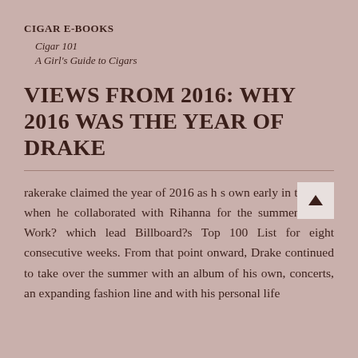CIGAR E-BOOKS
Cigar 101
A Girl's Guide to Cigars
VIEWS FROM 2016: WHY 2016 WAS THE YEAR OF DRAKE
rakerake claimed the year of 2016 as his own early in the year when he collaborated with Rihanna for the summer jam ?Work? which lead Billboard?s Top 100 List for eight consecutive weeks. From that point onward, Drake continued to take over the summer with an album of his own, concerts, an expanding fashion line and with his personal life